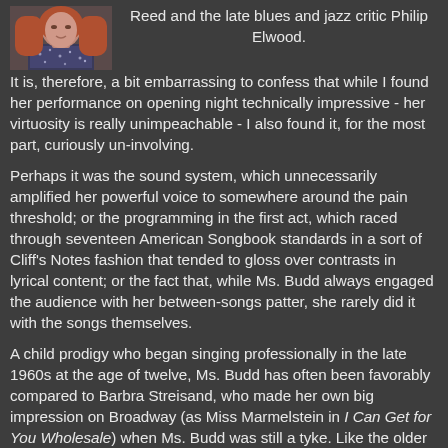[Figure (photo): Photo of a woman with long reddish hair wearing a sparkly/sequined top, shown from shoulders up]
Reed and the late blues and jazz critic Philip Elwood. It is, therefore, a bit embarrassing to confess that while I found her performance on opening night technically impressive - her virtuosity is really unimpeachable - I also found it, for the most part, curiously un-involving.
Perhaps it was the sound system, which unnecessarily amplified her powerful voice to somewhere around the pain threshold; or the programming in the first act, which raced through seventeen American Songbook standards in a sort of Cliff's Notes fashion that tended to gloss over contrasts in lyrical content; or the fact that, while Ms. Budd always engaged the audience with her between-songs patter, she rarely did it with the songs themselves.
A child prodigy who began singing professionally in the late 1960s at the age of twelve, Ms. Budd has often been favorably compared to Barbra Streisand, who made her own big impression on Broadway (as Miss Marmelstein in I Can Get for You Wholesale) when Ms. Budd was still a tyke. Like the older singer, with whom she shares Brooklyn origins, Ms.